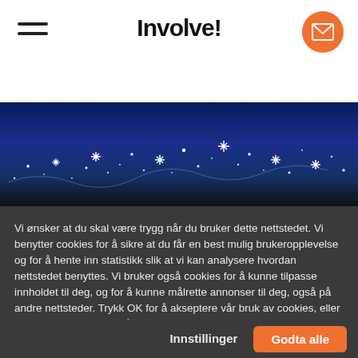Involve!
[Figure (photo): Night sky with stars on dark blue background]
Vi ønsker at du skal være trygg når du bruker dette nettstedet. Vi benytter cookies for å sikre at du får en best mulig brukeropplevelse og for å hente inn statistikk slik at vi kan analysere hvordan nettstedet benyttes. Vi bruker også cookies for å kunne tilpasse innholdet til deg, og for å kunne målrette annonser til deg, også på andre nettsteder. Trykk OK for å akseptere vår bruk av cookies, eller trykk «Innstillinger» for å lese mer om dette.
Innstillinger
Godta alle